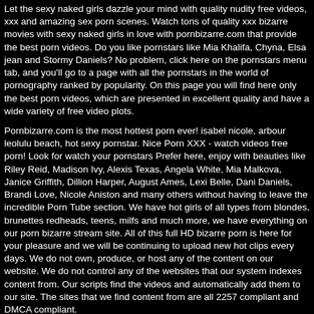Let the sexy naked girls dazzle your mind with quality nudity free videos, xxx and amazing sex porn scenes. Watch tons of quality xxx bizarre movies with sexy naked girls in love with pornbizarre.com that provide the best porn videos. Do you like pornstars like Mia Khalifa, Chyna, Elsa jean and Stormy Daniels? No problem, click here on the pornstars menu tab, and you'll go to a page with all the pornstars in the world of pornography ranked by popularity. On this page you will find here only the best porn videos, which are presented in excellent quality and have a wide variety of free video plots.
Pornbizarre.com is the most hottest porn ever! isabel nicole, arbour leolulu beach, hot sexy pornstar. Nice Porn XXX - watch videos free porn! Look for watch your pornstars Prefer here, enjoy with beauties like Riley Reid, Madison Ivy, Alexis Texas, Angela White, Mia Malkova, Janice Griffith, Dillion Harper, August Ames, Lexi Belle, Dani Daniels, Brandi Love, Nicole Aniston and many others without having to leave the incredible Porn Tube section. We have hot girls of all types from blondes, brunettes redheads, teens, milfs and much more, we have everything on our porn bizarre stream site. All of this full HD bizarre porn is here for your pleasure and we will be continuing to upload new hot clips every days. We do not own, produce, or host any of the content on our website. We do not control any of the websites that our system indexes content from. Our scripts find the videos and automatically add them to our site. The sites that we find content from are all 2257 compliant and DMCA compliant.
Please send content removal requests to the original source (pornhub,